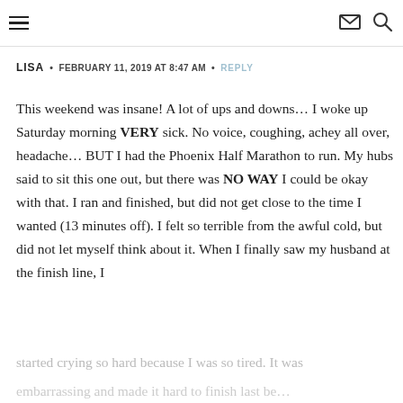Navigation header with hamburger menu, mail icon, and search icon
LISA • FEBRUARY 11, 2019 AT 8:47 AM • REPLY
This weekend was insane! A lot of ups and downs… I woke up Saturday morning VERY sick. No voice, coughing, achey all over, headache… BUT I had the Phoenix Half Marathon to run. My hubs said to sit this one out, but there was NO WAY I could be okay with that. I ran and finished, but did not get close to the time I wanted (13 minutes off). I felt so terrible from the awful cold, but did not let myself think about it. When I finally saw my husband at the finish line, I
started crying so hard because I was so tired. It was
embarrassing and made it hard to finish last be…